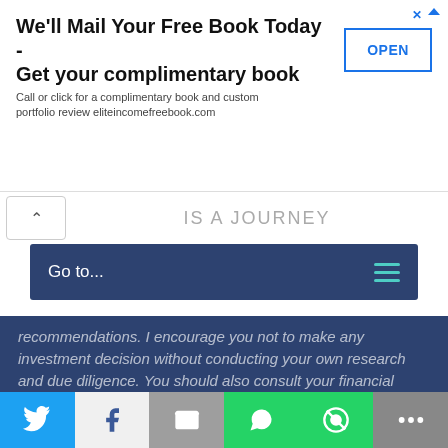[Figure (screenshot): Advertisement banner: 'We'll Mail Your Free Book Today - Get your complimentary book' with OPEN button]
IS A JOURNEY
Go to...
recommendations. I encourage you not to make any investment decision without conducting your own research and due diligence. You should also consult your financial advisor about your specific situation.
Disclosure: I am long all companies held in the FFJ Portfolio.
[Figure (screenshot): Social sharing bar with Twitter, Facebook, Email, WhatsApp, SMS, and More buttons]